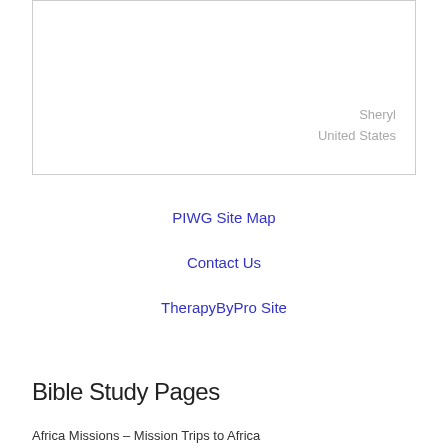Sheryl
United States
PIWG Site Map
Contact Us
TherapyByPro Site
Bible Study Pages
Africa Missions – Mission Trips to Africa